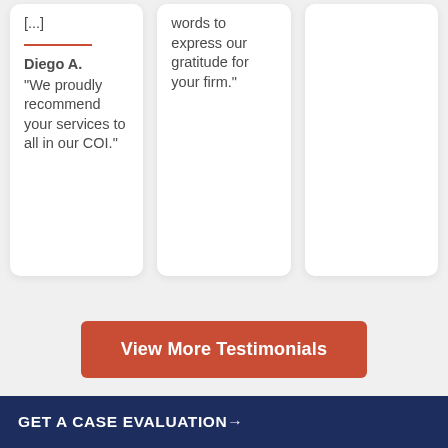[...]
Diego A.
"We proudly recommend your services to all in our COI."
words to express our gratitude for your firm."
View More Testimonials
GET A CASE EVALUATION→